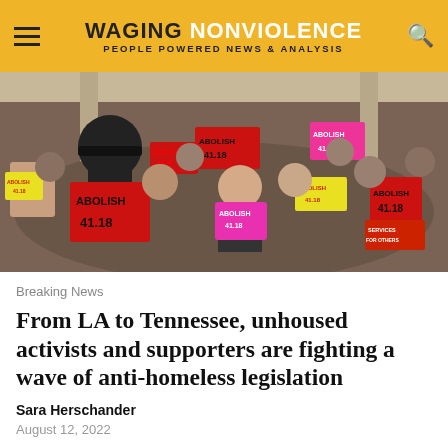WAGING NONVIOLENCE — PEOPLE POWERED NEWS & ANALYSIS
[Figure (photo): Crowd of activists inside a building holding red, pink, and yellow signs reading 'ABOLISH 41.18', wearing masks]
Breaking News
From LA to Tennessee, unhoused activists and supporters are fighting a wave of anti-homeless legislation
Sara Herschander
August 12, 2022